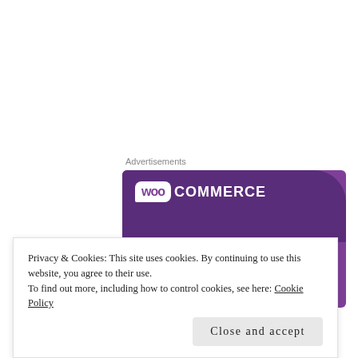Advertisements
[Figure (illustration): WooCommerce advertisement banner with purple background showing 'woo COMMERCE' logo, tagline 'The most customizable eCommerce platform', a 'Start a new store' button, and UI mockup elements including a shopping cart icon.]
Privacy & Cookies: This site uses cookies. By continuing to use this website, you agree to their use.
To find out more, including how to control cookies, see here: Cookie Policy
Close and accept
you feel warm and snug!